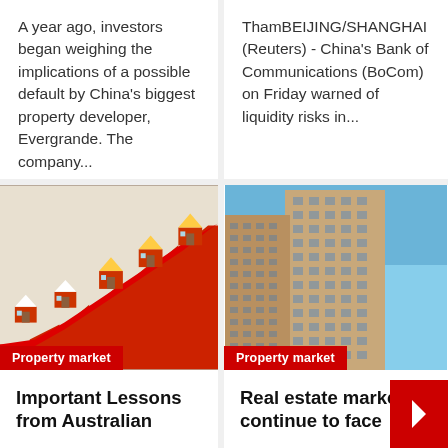A year ago, investors began weighing the implications of a possible default by China's biggest property developer, Evergrande. The company...
ThamBEIJING/SHANGHAI (Reuters) - China's Bank of Communications (BoCom) on Friday warned of liquidity risks in...
[Figure (photo): 3D illustration of small house models on red rising arrow graph, representing property market growth. Label: Property market]
[Figure (photo): Low-angle photograph of tall residential skyscrapers against a blue sky. Label: Property market]
Important Lessons from Australian
Real estate market continue to face